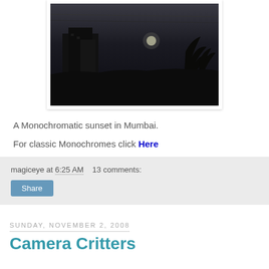[Figure (photo): Dark monochromatic photo of a Mumbai cityscape at sunset, showing silhouetted buildings and palm trees against a dark grey sky]
A Monochromatic sunset in Mumbai.
For classic Monochromes click Here
magiceye at 6:25 AM   13 comments:
Share
Sunday, November 2, 2008
Camera Critters